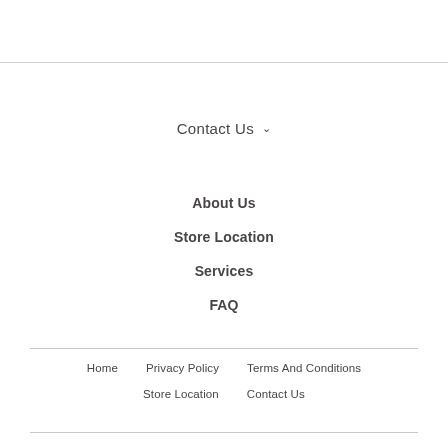Contact Us ▾
About Us
Store Location
Services
FAQ
Home   Privacy Policy   Terms And Conditions   Store Location   Contact Us